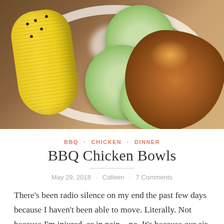[Figure (photo): A plate of BBQ chicken with corn on the cob and cucumber slices with cream dressing, viewed from above on a white plate.]
BBQ · CHICKEN · DINNER
BBQ Chicken Bowls
May 29, 2018 · Colleen · 7 Comments
There's been radio silence on my end the past few days because I haven't been able to move. Literally. Not because I'm injured, or in pain---no. It's because our air